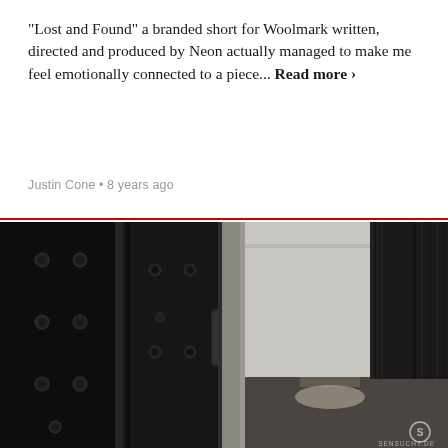“Lost and Found” a branded short for Woolmark written, directed and produced by Neon actually managed to make me feel emotionally connected to a piece... Read more >
Justin Cone • 8 years ago
[Figure (photo): Black and white photograph showing large dark vault or safe doors on the left side, with an open door revealing a bright room with curtained windows on the right. A watermark logo and 'SENSUCHT.DE' text appears in the bottom right corner.]